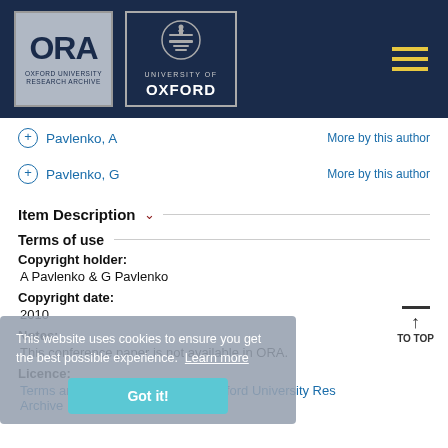[Figure (logo): ORA Oxford University Research Archive logo and University of Oxford crest logo in dark navy header bar with hamburger menu icon]
+ Pavlenko, A   More by this author
+ Pavlenko, G   More by this author
Item Description ∨
Terms of use
Copyright holder:
A Pavlenko & G Pavlenko
Copyright date:
2010
Notes:
This conference paper is not available in ORA.
Licence:
Terms and Conditions of Use for Oxford University Research Archive
This website uses cookies to ensure you get the best possible experience. Learn more